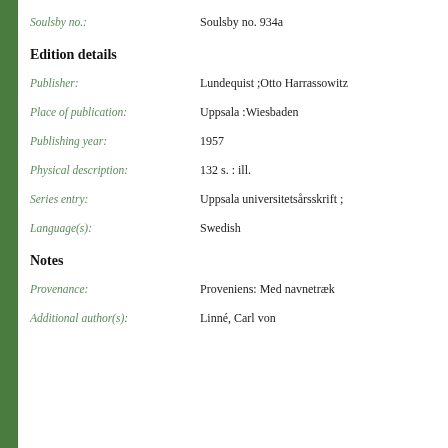Soulsby no.: Soulsby no. 934a
Edition details
Publisher: Lundequist ;Otto Harrassowitz
Place of publication: Uppsala :Wiesbaden
Publishing year: 1957
Physical description: 132 s. : ill.
Series entry: Uppsala universitets årsskrift ;
Language(s): Swedish
Notes
Provenance: Proveniens: Med navnetræk
Additional author(s): Linné, Carl von